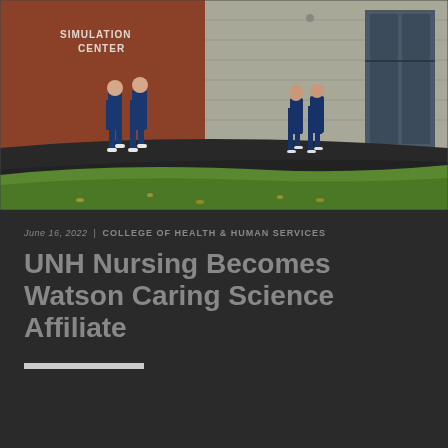[Figure (photo): Nursing students in blue scrubs walking outside a Simulation Center building with brown/red exterior wall and glass entrance doors. Green grass lawn in foreground.]
June 16, 2022 | COLLEGE OF HEALTH & HUMAN SERVICES
UNH Nursing Becomes Watson Caring Science Affiliate